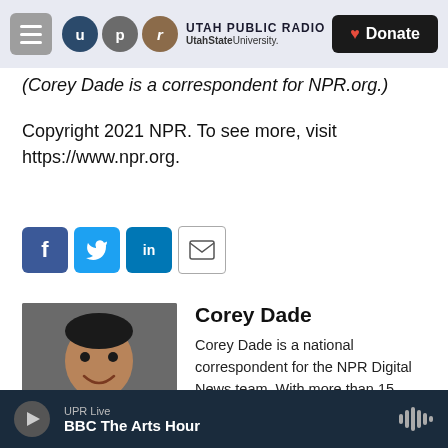UTAH PUBLIC RADIO — UtahStateUniversity. — Donate
(Corey Dade is a correspondent for NPR.org.)
Copyright 2021 NPR. To see more, visit https://www.npr.org.
[Figure (infographic): Social media sharing buttons: Facebook, Twitter, LinkedIn, Email]
[Figure (photo): Headshot photo of Corey Dade, a man in a grey suit smiling]
Corey Dade
Corey Dade is a national correspondent for the NPR Digital News team. With more than 15 years of journalism experience, he writes news analysis about federal policy,
UPR Live — BBC The Arts Hour